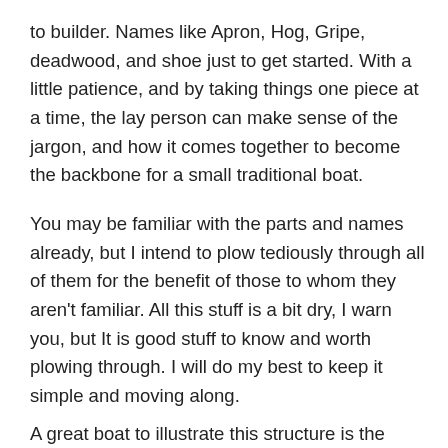to builder. Names like Apron, Hog, Gripe, deadwood, and shoe just to get started. With a little patience, and by taking things one piece at a time, the lay person can make sense of the jargon, and how it comes together to become the backbone for a small traditional boat.
You may be familiar with the parts and names already, but I intend to plow tediously through all of them for the benefit of those to whom they aren't familiar. All this stuff is a bit dry, I warn you, but It is good stuff to know and worth plowing through. I will do my best to keep it simple and moving along.
A great boat to illustrate this structure is the Connecticut